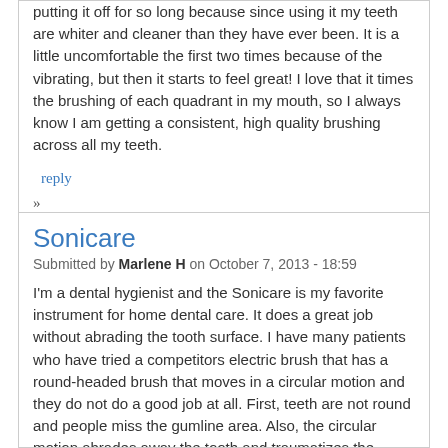putting it off for so long because since using it my teeth are whiter and cleaner than they have ever been. It is a little uncomfortable the first two times because of the vibrating, but then it starts to feel great! I love that it times the brushing of each quadrant in my mouth, so I always know I am getting a consistent, high quality brushing across all my teeth.
reply
»
Sonicare
Submitted by Marlene H on October 7, 2013 - 18:59
I'm a dental hygienist and the Sonicare is my favorite instrument for home dental care. It does a great job without abrading the tooth surface. I have many patients who have tried a competitors electric brush that has a round-headed brush that moves in a circular motion and they do not do a good job at all. First, teeth are not round and people miss the gumline area. Also, the circular motion abrades away the tooth and traumatizes the gums. In contrast, the Sonicare has an elongated head like a manual toothbrush which works well around the gumline and it moves with a short vibrating stroke that is very gentle on the gums. Yes, it might be expensive, but